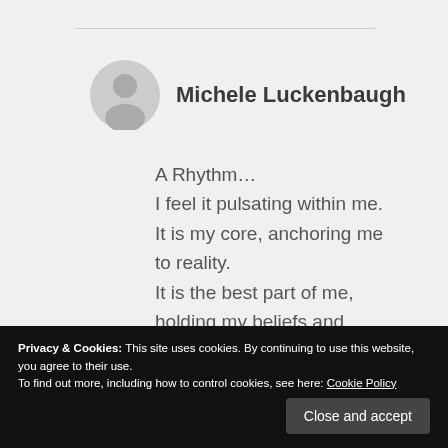Michele Luckenbaugh
A Rhythm…
I feel it pulsating within me.
It is my core, anchoring me to reality.
It is the best part of me, holding my beliefs and invaders.
Privacy & Cookies: This site uses cookies. By continuing to use this website, you agree to their use.
To find out more, including how to control cookies, see here: Cookie Policy
Close and accept